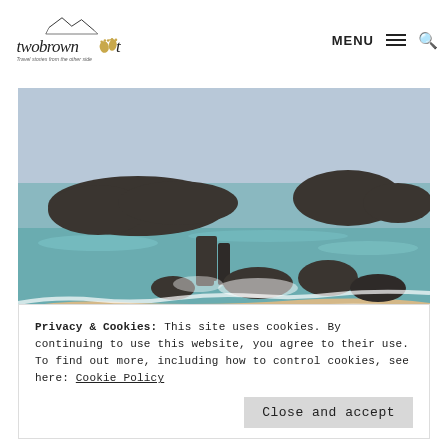[Figure (logo): Two Brown Feet travel blog logo with mountain sketch and text 'twobownfeet' with footprint icons, tagline: Travel stories from the other side]
[Figure (photo): Rocky beach scene with large dark boulders and rocks in calm turquoise sea water, golden sandy beach in foreground, hazy blue sky]
Privacy & Cookies: This site uses cookies. By continuing to use this website, you agree to their use.
To find out more, including how to control cookies, see here: Cookie Policy
Close and accept